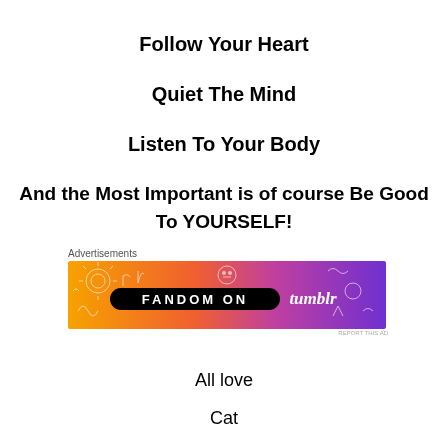Follow Your Heart
Quiet The Mind
Listen To Your Body
And the Most Important is of course Be Good To YOURSELF!
[Figure (other): Fandom on Tumblr advertisement banner with orange-to-purple gradient background and decorative doodle illustrations]
All love
Cat